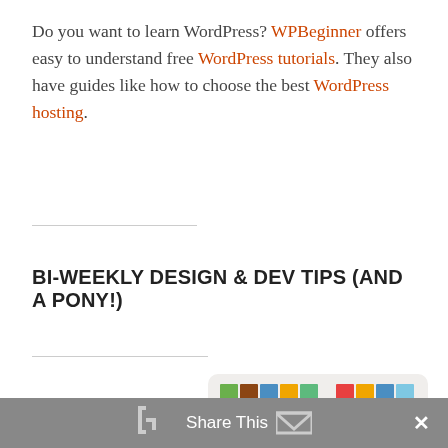Do you want to learn WordPress? WPBeginner offers easy to understand free WordPress tutorials. They also have guides like how to choose the best WordPress hosting.
BI-WEEKLY DESIGN & DEV TIPS (AND A PONY!)
[Figure (logo): InfiniGeek logo with colorful pixel grid above bold text reading INFINI (partially visible) GEEK]
Share This  ×